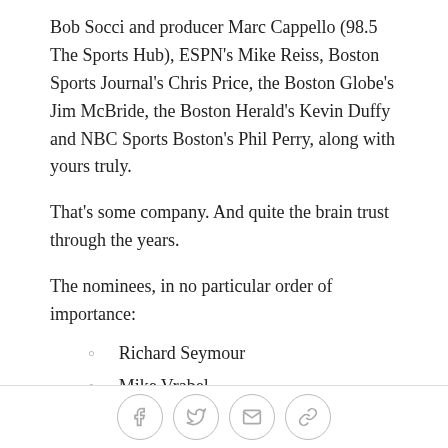Bob Socci and producer Marc Cappello (98.5 The Sports Hub), ESPN's Mike Reiss, Boston Sports Journal's Chris Price, the Boston Globe's Jim McBride, the Boston Herald's Kevin Duffy and NBC Sports Boston's Phil Perry, along with yours truly.
That's some company. And quite the brain trust through the years.
The nominees, in no particular order of importance:
Richard Seymour
Mike Vrabel
Rodney Harrison
Bill Parcells
Julius Adams
Fred Marion